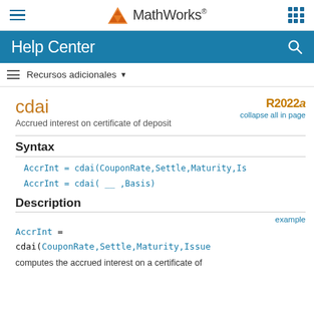MathWorks Help Center
Recursos adicionales
cdai
Accrued interest on certificate of deposit
R2022a collapse all in page
Syntax
Description
computes the accrued interest on a certificate of